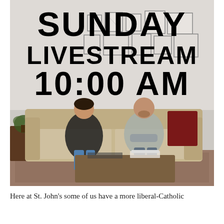[Figure (photo): Photo of two people sitting on a beige sofa in a living room with framed pictures on the wall behind them and a coffee table in front, with bold black text overlaid reading SUNDAY LIVESTREAM 10:00 AM]
Here at St. John's some of us have a more liberal-Catholic